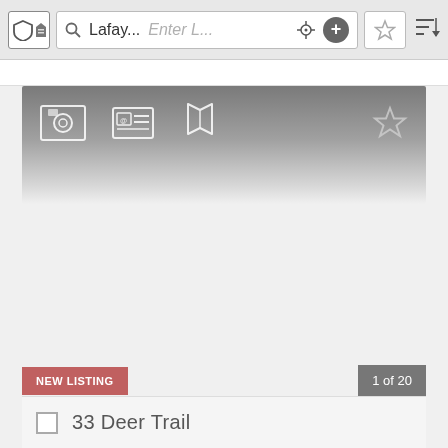[Figure (screenshot): Mobile app toolbar with shield icon, search bar showing 'Lafay...' and placeholder 'Enter L...', crosshair, plus, star, and sort icons]
[Figure (screenshot): Dark gradient header strip with photo, contact card, and map icons on left, star icon on right]
[Figure (screenshot): Content area with left and right navigation arrows and a loading spinner in the center]
NEW LISTING
1 of 20
33 Deer Trail